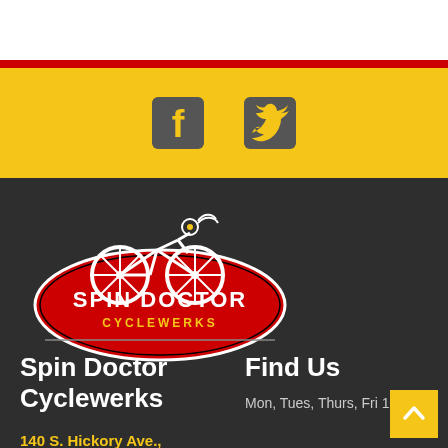[Figure (logo): Facebook and Twitter social media icons on yellow background]
[Figure (logo): Spin Doctor Cyclewerks logo — red oval with cyclist silhouette and white/yellow text]
Spin Doctor Cyclewerks
140 S. Hickory Ave., Bartlett, IL 60103
Find Us
Mon, Tues, Thurs, Fri 10 - 6
Sat 10-5
Closed Wed & Sun.